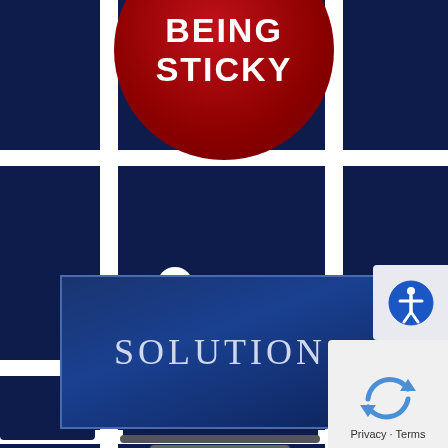[Figure (illustration): Dark navy blue background with white road/grid map lines forming an abstract street map pattern. A large red glossy circle badge at the top center contains the white text 'BEING STICKY'. Below center is a blue rectangular box with a lighter blue border containing the text 'SOLUTIONS' in light grey-blue uppercase letters. Bottom right has a white accessibility icon badge and a Google reCAPTCHA/Privacy-Terms widget.]
BEING STICKY
SOLUTIONS
Privacy · Terms